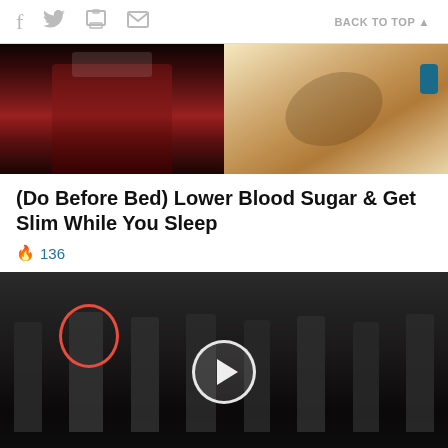f  [twitter] [print] [mail]   BACK TO TOP ▲
[Figure (photo): Two side-by-side advertisement images: left shows a dark red/burgundy drink in a glass, right shows a hand holding a small device against a yellow background]
(Do Before Bed) Lower Blood Sugar & Get Slim While You Sleep
🔥 136
[Figure (photo): Group of people in suits standing in the CIA headquarters lobby with the CIA seal on the floor. One person is circled in red on the left side. A video play button overlay is visible in the center.]
Biden Probably Wants This Video Destroyed